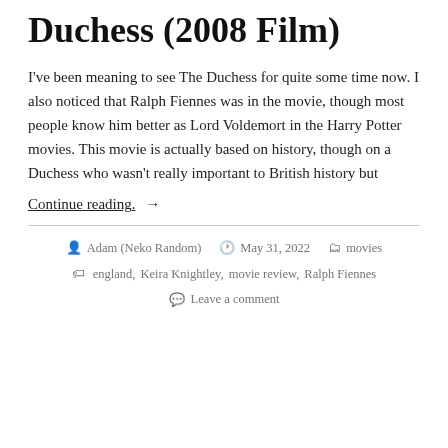Duchess (2008 Film)
I've been meaning to see The Duchess for quite some time now. I also noticed that Ralph Fiennes was in the movie, though most people know him better as Lord Voldemort in the Harry Potter movies. This movie is actually based on history, though on a Duchess who wasn't really important to British history but
Continue reading →
Adam (Neko Random)  May 31, 2022  movies  england, Keira Knightley, movie review, Ralph Fiennes  Leave a comment